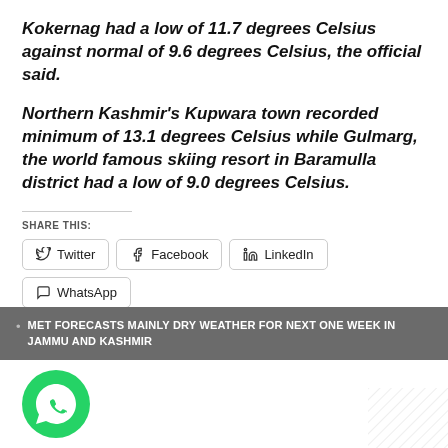Kokernag had a low of 11.7 degrees Celsius against normal of 9.6 degrees Celsius, the official said.
Northern Kashmir’s Kupwara town recorded minimum of 13.1 degrees Celsius while Gulmarg, the world famous skiing resort in Baramulla district had a low of 9.0 degrees Celsius.
SHARE THIS:
[Figure (infographic): Social share buttons: Twitter, Facebook, LinkedIn, WhatsApp, Tumblr, Telegram, Email, Print]
MET FORECASTS MAINLY DRY WEATHER FOR NEXT ONE WEEK IN JAMMU AND KASHMIR
[Figure (logo): WhatsApp green circle icon]